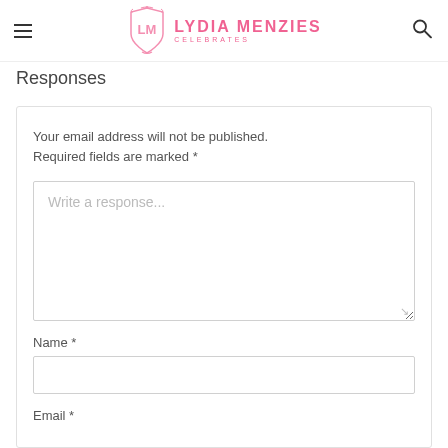LYDIA MENZIES CELEBRATES
Responses
Your email address will not be published. Required fields are marked *
Write a response...
Name *
Email *